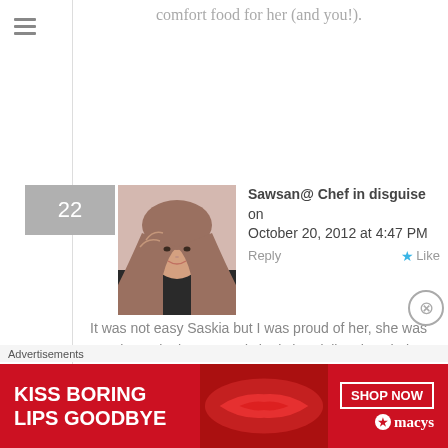comfort food for her (and you!).
Sawsan@ Chef in disguise on October 20, 2012 at 4:47 PM
Reply  Like
It was not easy Saskia but I was proud of her, she was very brave in the ER. and she is handeling the whole thing with a smile
Rufus' Food and Spirits Guide on October 18, 2012 at 4:43 AM
Advertisements
[Figure (photo): Advertisement banner: KISS BORING LIPS GOODBYE with SHOP NOW button and macys logo]